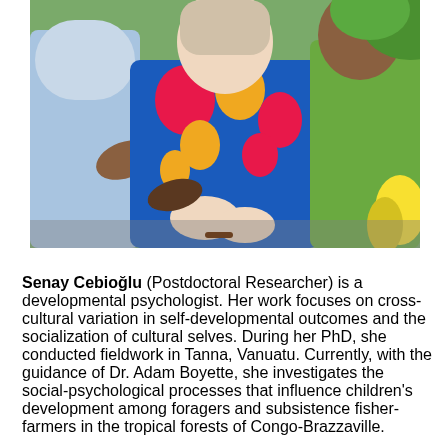[Figure (photo): A woman in a colorful blue, pink, and yellow floral dress sitting with two other people wearing blue and green clothing, outdoors with tropical greenery in the background.]
Senay Cebioğlu (Postdoctoral Researcher) is a developmental psychologist. Her work focuses on cross-cultural variation in self-developmental outcomes and the socialization of cultural selves. During her PhD, she conducted fieldwork in Tanna, Vanuatu. Currently, with the guidance of Dr. Adam Boyette, she investigates the social-psychological processes that influence children's development among foragers and subsistence fisher-farmers in the tropical forests of Congo-Brazzaville.